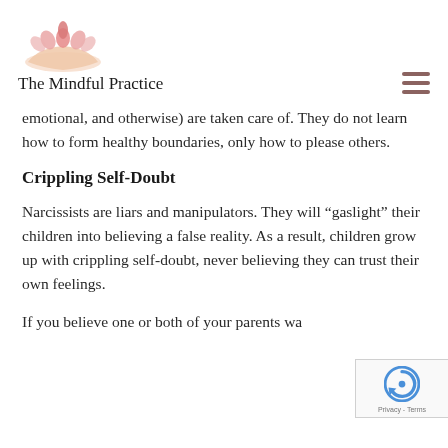[Figure (logo): Lotus flower on hand illustration, pink/salmon color]
The Mindful Practice
emotional, and otherwise) are taken care of. They do not learn how to form healthy boundaries, only how to please others.
Crippling Self-Doubt
Narcissists are liars and manipulators. They will “gaslight” their children into believing a false reality. As a result, children grow up with crippling self-doubt, never believing they can trust their own feelings.
If you believe one or both of your parents wa
[Figure (logo): reCAPTCHA badge with Privacy - Terms text]